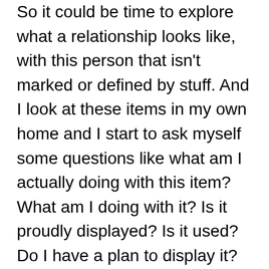So it could be time to explore what a relationship looks like, with this person that isn't marked or defined by stuff. And I look at these items in my own home and I start to ask myself some questions like what am I actually doing with this item? What am I doing with it? Is it proudly displayed? Is it used? Do I have a plan to display it? Or am I just keeping it? For the sake of keeping it? Do I honor my relationship with that person by how I keep this item? Like why am I holding on to it? And does anyone else want it? Like if I think that I need to be the gatekeeper of memories? How else can I share this load? Maybe these aren't memories other people want? So why do I feel